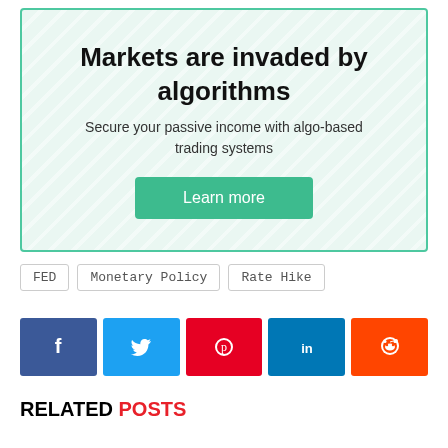[Figure (infographic): Promotional banner with diagonal stripe pattern and teal border. Contains bold title 'Markets are invaded by algorithms', subtitle 'Secure your passive income with algo-based trading systems', and a teal 'Learn more' button.]
FED   Monetary Policy   Rate Hike
[Figure (infographic): Row of social media share buttons: Facebook (blue), Twitter (light blue), Pinterest (red/pink), LinkedIn (dark blue), Reddit (orange)]
RELATED POSTS